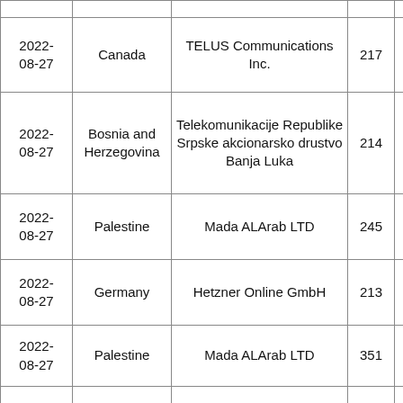| 2022-08-27 | Canada | TELUS Communications Inc. | 217 |  |
| 2022-08-27 | Bosnia and Herzegovina | Telekomunikacije Republike Srpske akcionarsko drustvo Banja Luka | 214 |  |
| 2022-08-27 | Palestine | Mada ALArab LTD | 245 |  |
| 2022-08-27 | Germany | Hetzner Online GmbH | 213 |  |
| 2022-08-27 | Palestine | Mada ALArab LTD | 351 |  |
| 2022-08-27 | Palestine | Mada ALArab LTD | 220 |  |